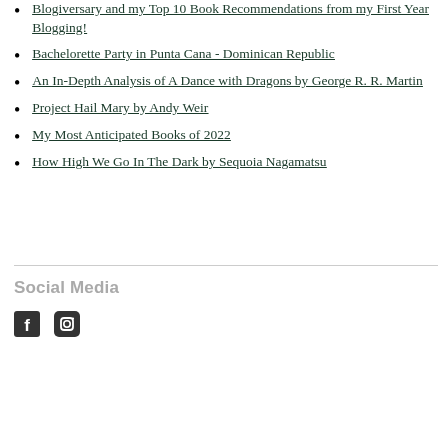Blogiversary and my Top 10 Book Recommendations from my First Year Blogging!
Bachelorette Party in Punta Cana - Dominican Republic
An In-Depth Analysis of A Dance with Dragons by George R. R. Martin
Project Hail Mary by Andy Weir
My Most Anticipated Books of 2022
How High We Go In The Dark by Sequoia Nagamatsu
Social Media
[Figure (other): Social media icons: Facebook and Instagram]